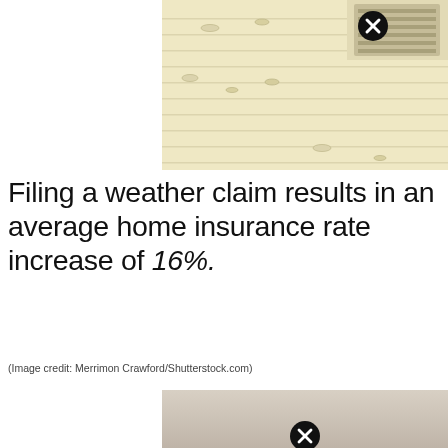[Figure (photo): Top portion of a house with cream/tan vinyl siding showing hail damage marks, with a vent visible in upper right. A close button icon overlaid at top.]
Filing a weather claim results in an average home insurance rate increase of 16%.
(Image credit: Merrimon Crawford/Shutterstock.com)
[Figure (photo): Bottom partial view of a second photo showing a beige/tan surface, with a close button icon overlaid at bottom center.]